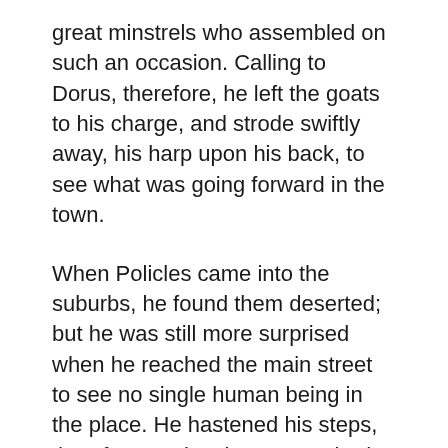great minstrels who assembled on such an occasion. Calling to Dorus, therefore, he left the goats to his charge, and strode swiftly away, his harp upon his back, to see what was going forward in the town.
When Policles came into the suburbs, he found them deserted; but he was still more surprised when he reached the main street to see no single human being in the place. He hastened his steps, therefore, and as he approached the theatre he was conscious of a low sustained hum which announced the concourse of a huge assembly. Never in all his dreams had he imagined any musical competition upon so vast a scale as this. There were some soldiers clustering outside the door; but Policles pushed his way swiftly through them, and found himself upon the